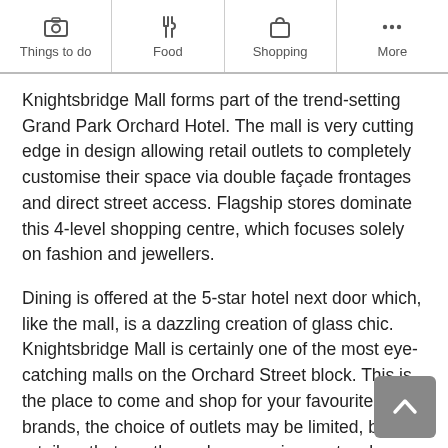Things to do | Food | Shopping | More
Knightsbridge Mall forms part of the trend-setting Grand Park Orchard Hotel. The mall is very cutting edge in design allowing retail outlets to completely customise their space via double façade frontages and direct street access. Flagship stores dominate this 4-level shopping centre, which focuses solely on fashion and jewellers.
Dining is offered at the 5-star hotel next door which, like the mall, is a dazzling creation of glass chic. Knightsbridge Mall is certainly one of the most eye-catching malls on the Orchard Street block. This is the place to come and shop for your favourite brands, the choice of outlets may be limited, but the retailers that are there showcase in spectacular style. Read more